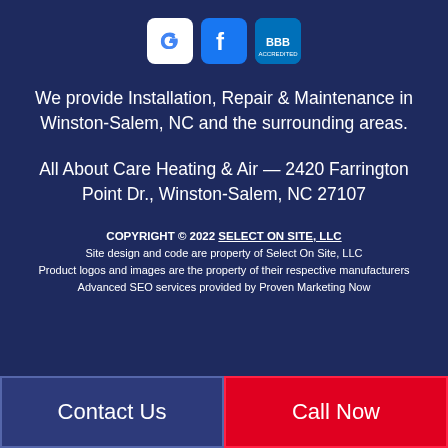[Figure (logo): Three social/review icons: Google (G), Facebook (f), and BBB (Better Business Bureau) displayed in a row]
We provide Installation, Repair & Maintenance in Winston-Salem, NC and the surrounding areas.
All About Care Heating & Air — 2420 Farrington Point Dr., Winston-Salem, NC 27107
COPYRIGHT © 2022 SELECT ON SITE, LLC
Site design and code are property of Select On Site, LLC
Product logos and images are the property of their respective manufacturers
Advanced SEO services provided by Proven Marketing Now
Contact Us
Call Now